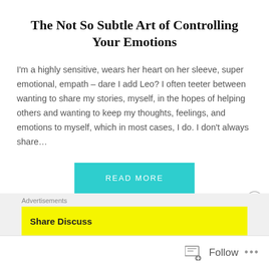The Not So Subtle Art of Controlling Your Emotions
I'm a highly sensitive, wears her heart on her sleeve, super emotional, empath – dare I add Leo? I often teeter between wanting to share my stories, myself, in the hopes of helping others and wanting to keep my thoughts, feelings, and emotions to myself, which in most cases, I do. I don't always share…
READ MORE
Advertisements
Share Discuss
Follow ...